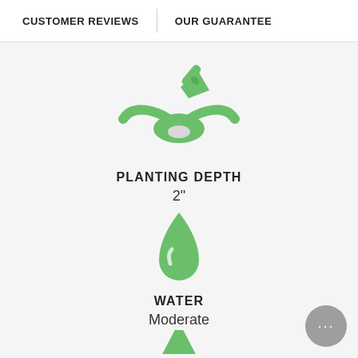CUSTOMER REVIEWS  OUR GUARANTEE
[Figure (infographic): Green trowel/shovel icon above a planting hole icon, representing planting depth]
PLANTING DEPTH
2"
[Figure (infographic): Green water droplet icon representing watering]
WATER
Moderate
[Figure (infographic): Green upward triangle/mountain icon partially visible at bottom, representing sun or next metric]